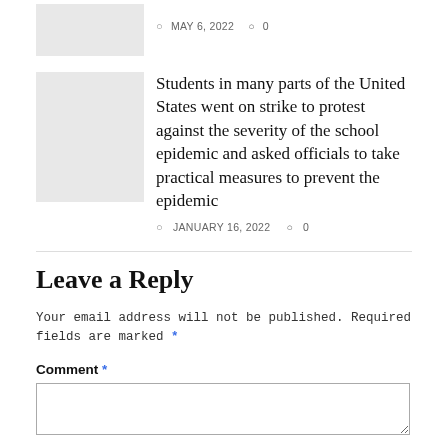MAY 6, 2022  0
[Figure (photo): Thumbnail image placeholder (gray box)]
Students in many parts of the United States went on strike to protest against the severity of the school epidemic and asked officials to take practical measures to prevent the epidemic
JANUARY 16, 2022  0
Leave a Reply
Your email address will not be published. Required fields are marked *
Comment *